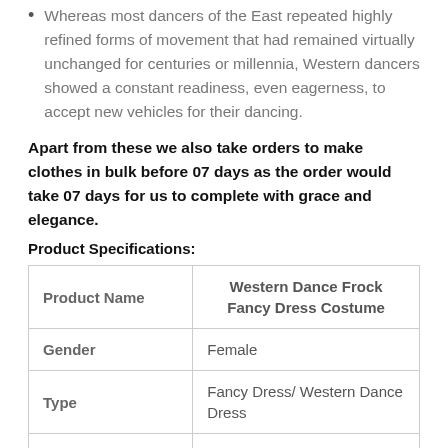Whereas most dancers of the East repeated highly refined forms of movement that had remained virtually unchanged for centuries or millennia, Western dancers showed a constant readiness, even eagerness, to accept new vehicles for their dancing.
Apart from these we also take orders to make clothes in bulk before 07 days as the order would take 07 days for us to complete with grace and elegance.
Product Specifications:
| Product Name | Western Dance Frock Fancy Dress Costume |
| --- | --- |
| Gender | Female |
| Type | Fancy Dress/ Western Dance Dress |
| Age Group | All the age group |